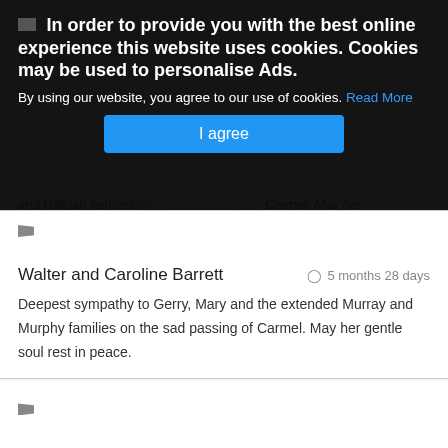In order to provide you with the best online experience this website uses cookies. Cookies may be used to personalise Ads.
By using our website, you agree to our use of cookies. Read More
I agree
The Bro... and Gilligan families o... Carmel. May her gentle soul rest in peace.
Walter and Caroline Barrett
5 months 28 days
Deepest sympathy to Gerry, Mary and the extended Murray and Murphy families on the sad passing of Carmel. May her gentle soul rest in peace.